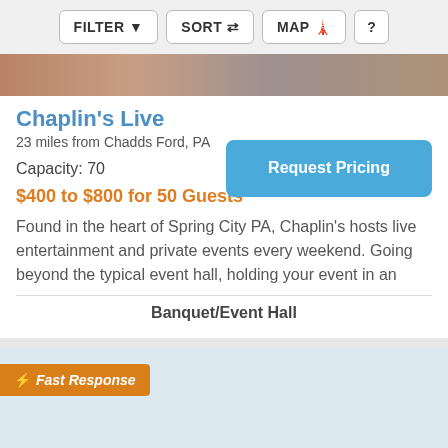FILTER  SORT  MAP  ?
[Figure (photo): Decorative photo strip showing people at an event]
Chaplin's Live
23 miles from Chadds Ford, PA
Capacity: 70
Request Pricing
$400 to $800 for 50 Guests
Found in the heart of Spring City PA, Chaplin's hosts live entertainment and private events every weekend. Going beyond the typical event hall, holding your event in an
Banquet/Event Hall
⚡ Fast Response